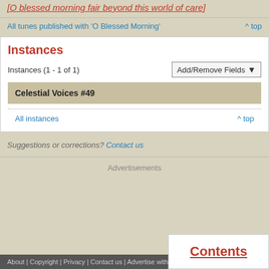[O blessed morning fair beyond this world of care]
All tunes published with 'O Blessed Morning'
Instances
Instances (1 - 1 of 1)
| Celestial Voices #49 |
| --- |
All instances
Suggestions or corrections? Contact us
Advertisements
About | Copyright | Privacy | Contact us | Advertise with us | Publisher Pa...